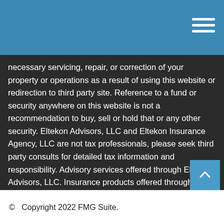necessary servicing, repair, or correction of your property or operations as a result of using this website or redirection to third party site. Reference to a fund or security anywhere on this website is not a recommendation to buy, sell or hold that or any other security. Eltekon Advisors, LLC and Eltekon Insurance Agency, LLC are not tax professionals, please seek third party consults for detailed tax information and responsibility. Advisory services offered through Eltekon Advisors, LLC. Insurance products offered through Eltekon Insurance Agency, LLC.
© Copyright 2022 FMG Suite.